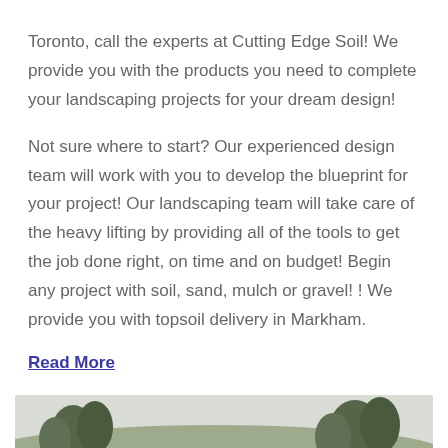Toronto, call the experts at Cutting Edge Soil! We provide you with the products you need to complete your landscaping projects for your dream design!
Not sure where to start? Our experienced design team will work with you to develop the blueprint for your project! Our landscaping team will take care of the heavy lifting by providing all of the tools to get the job done right, on time and on budget! Begin any project with soil, sand, mulch or gravel! ! We provide you with topsoil delivery in Markham.
Read More
[Figure (photo): Outdoor landscape photo showing trees, open grounds, a road, and what appears to be a truck or vehicle in the distance under an overcast sky.]